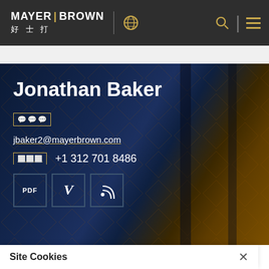MAYER BROWN 好士打
Jonathan Baker
???
jbaker2@mayerbrown.com
??? +1 312 701 8486
PDF | V | RSS buttons
Site Cookies